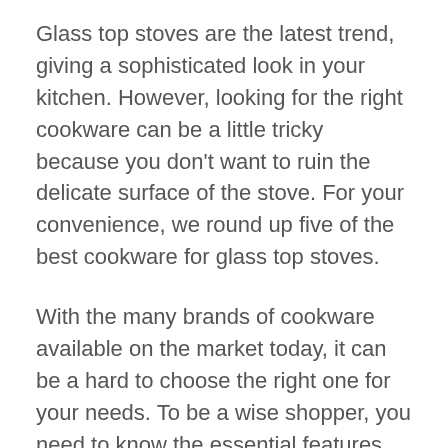Glass top stoves are the latest trend, giving a sophisticated look in your kitchen. However, looking for the right cookware can be a little tricky because you don't want to ruin the delicate surface of the stove. For your convenience, we round up five of the best cookware for glass top stoves.
With the many brands of cookware available on the market today, it can be a hard to choose the right one for your needs. To be a wise shopper, you need to know the essential features. After several tests and research, we offer a guideline on how to choose the best cookware for your glass top stove.